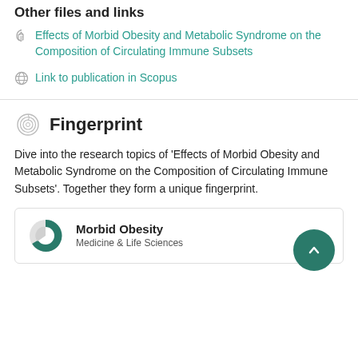Other files and links
Effects of Morbid Obesity and Metabolic Syndrome on the Composition of Circulating Immune Subsets
Link to publication in Scopus
Fingerprint
Dive into the research topics of 'Effects of Morbid Obesity and Metabolic Syndrome on the Composition of Circulating Immune Subsets'. Together they form a unique fingerprint.
Morbid Obesity
Medicine & Life Sciences